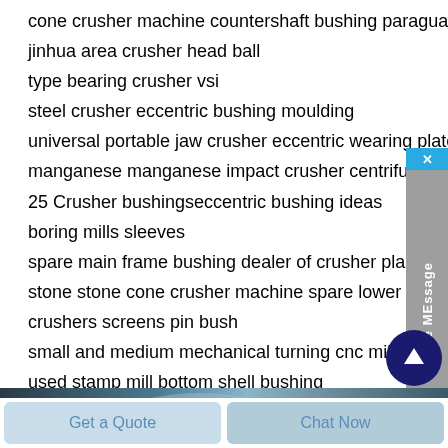cone crusher machine countershaft bushing paraguay
jinhua area crusher head ball
type bearing crusher vsi
steel crusher eccentric bushing moulding
universal portable jaw crusher eccentric wearing plate
manganese manganese impact crusher centrifugal casting india
25 Crusher bushingseccentric bushing ideas
boring mills sleeves
spare main frame bushing dealer of crusher plant in odisha
stone stone cone crusher machine spare lower head bu…
crushers screens pin bush
small and medium mechanical turning cnc milling bearing bush
used stamp mill bottom shell bushing
grinding mill copper shield millstone for vertical mill
[Figure (screenshot): Dark blue/grey image strip showing partial machinery photo at bottom of content area]
Get a Quote
Chat Now